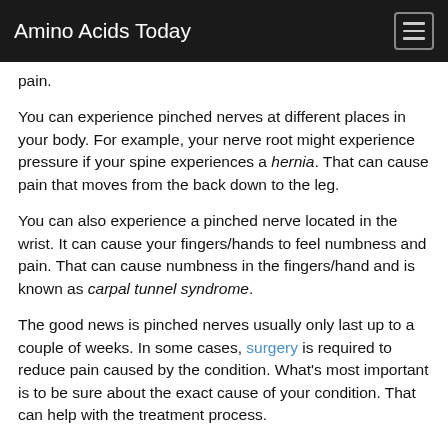Amino Acids Today
pain.
You can experience pinched nerves at different places in your body. For example, your nerve root might experience pressure if your spine experiences a hernia. That can cause pain that moves from the back down to the leg.
You can also experience a pinched nerve located in the wrist. It can cause your fingers/hands to feel numbness and pain. That can cause numbness in the fingers/hand and is known as carpal tunnel syndrome.
The good news is pinched nerves usually only last up to a couple of weeks. In some cases, surgery is required to reduce pain caused by the condition. What’s most important is to be sure about the exact cause of your condition. That can help with the treatment process.